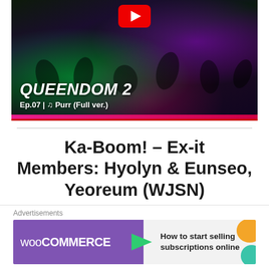[Figure (screenshot): YouTube thumbnail for Queendom 2 Ep.07 showing dancers performing on a dark stage with colorful green and purple lighting. Text overlay reads 'QUEENDOM 2 / Ep.07 | ♫ Purr (Full ver.)' with YouTube logo at top and pink/red bar at bottom.]
Ka-Boom! – Ex-it Members: Hyolyn & Eunseo, Yeoreum (WJSN)
For Hyolyn and WJSN's dance stage, I quite like how they started off aggressive and powerful.
[Figure (screenshot): WooCommerce advertisement banner with purple background on left showing WooCommerce logo with green arrow, and light grey background on right with text 'How to start selling subscriptions online' and orange/teal decorative shapes.]